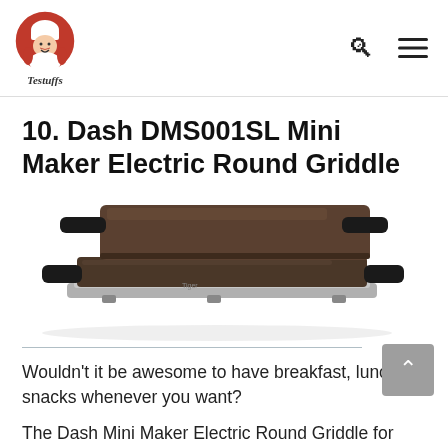Testuffs logo with search and menu icons
10. Dash DMS001SL Mini Maker Electric Round Griddle
[Figure (photo): Product photo of the Dash DMS001SL Mini Maker Electric Round Griddle showing a dark brown/bronze non-stick rectangular electric griddle with handles on both sides, shown in two views: top view (lid/top plate) and bottom view (base with cooking surface), stacked at an angle.]
Wouldn't it be awesome to have breakfast, lunch, or snacks whenever you want?
The Dash Mini Maker Electric Round Griddle for Individual Pancakes, Cookies